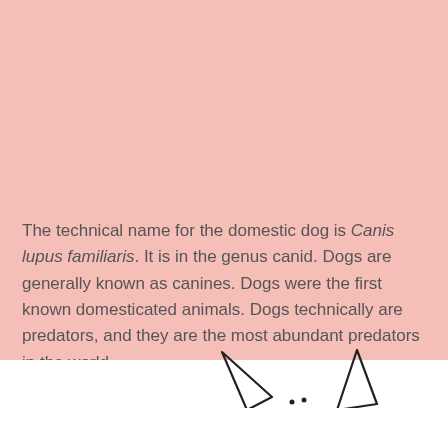The technical name for the domestic dog is Canis lupus familiaris. It is in the genus canid. Dogs are generally known as canines. Dogs were the first known domesticated animals. Dogs technically are predators, and they are the most abundant predators in the world.
[Figure (illustration): Partial illustration of dog ears (two triangular ear shapes) visible at the bottom of the pink section, appearing to peek up from below.]